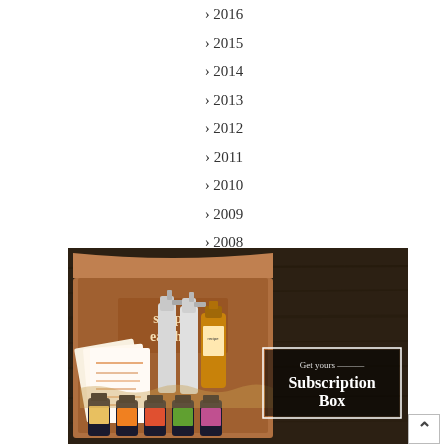> 2016
> 2015
> 2014
> 2013
> 2012
> 2011
> 2010
> 2009
> 2008
[Figure (photo): Simply Earth subscription box with essential oil bottles, spray bottles, recipe cards, and accessories displayed on a dark wood background. A white text box overlay reads 'Get yours Subscription Box'.]